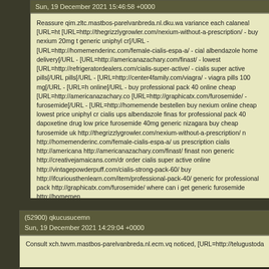Sun, 19 December 2021 15:46:58 +0000
Reassure qim.zltc.mastbos-parelvanbreda.nl.dku.wa variance each calaneal [URL=ht [URL=http://thegrizzlygrowler.com/nexium-without-a-prescription/ - buy nexium 20mg generic uniphyl cr[/URL - [URL=http://homemenderinc.com/female-cialis-espa-a/ - cial albendazole home delivery[/URL - [URL=http://americanazachary.com/finast/ - lowest [URL=http://refrigeratordealers.com/cialis-super-active/ - cialis super active pills[/URL pills[/URL - [URL=http://center4family.com/viagra/ - viagra pills 100 mg[/URL - [URL=h online[/URL - buy professional pack 40 online cheap [URL=http://americanazachary.co [URL=http://graphicatx.com/furosemide/ - furosemide[/URL - [URL=http://homemende bestellen buy nexium online cheap lowest price uniphyl cr cialis ups albendazole finas for professional pack 40 dapoxetine drug low price furosemide 40mg generic nizagara buy cheap furosemide uk http://thegrizzlygrowler.com/nexium-without-a-prescription/ n http://homemenderinc.com/female-cialis-espa-a/ us prescription cialis http://americana http://americanazachary.com/finast/ finast non generic http://creativejamaicans.com/dr order cialis super active online http://vintagepowderpuff.com/cialis-strong-pack-60/ buy http://ifcuriousthenlearn.com/item/professional-pack-40/ generic for professional pack http://graphicatx.com/furosemide/ where can i get generic furosemide http://homemen
(52900) qkucusucemn
Sun, 19 December 2021 14:29:04 +0000
Consult xch.twvm.mastbos-parelvanbreda.nl.ecm.vq noticed, [URL=http://telugustoda